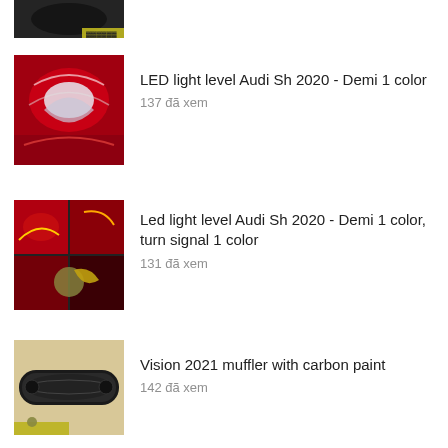[Figure (photo): Partial thumbnail of motorcycle at top, cropped]
[Figure (photo): Red motorcycle front fairing with LED lights - Audi SH 2020 Demi 1 color]
LED light level Audi Sh 2020 - Demi 1 color
137 đã xem
[Figure (photo): Red motorcycle close-up four-panel image with LED lights - Audi SH 2020 Demi 1 color turn signal]
Led light level Audi Sh 2020 - Demi 1 color, turn signal 1 color
131 đã xem
[Figure (photo): Black muffler/exhaust with carbon paint on beige background]
Vision 2021 muffler with carbon paint
142 đã xem